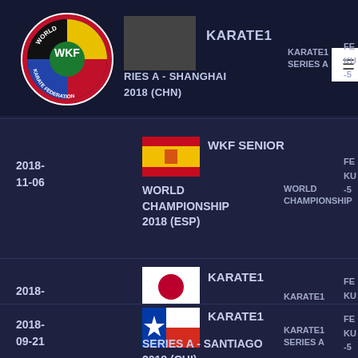WKF World Karate Federation - KARATE1 SERIES A - SHANGHAI 2018 (CHN)
2018-11-06 | WKF SENIOR WORLD CHAMPIONSHIP | WORLD CHAMPIONSHIP 2018 (ESP)
2018-10-12 | KARATE1 PREMIER LEAGUE | PREMIER LEAGUE - TOKYO 2018 (JPN)
2018-09-21 | KARATE1 SERIES A | SERIES A - SANTIAGO 2018 (CHI)